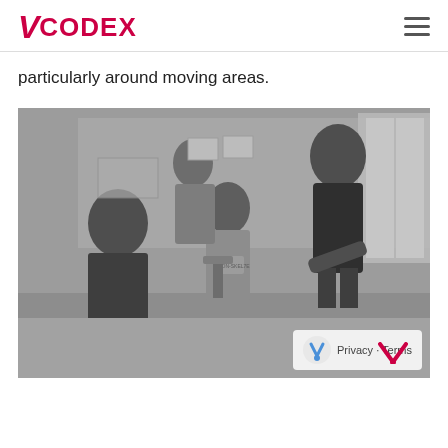VCODEX
particularly around moving areas.
[Figure (photo): Black and white photo of several people sitting around a table in an office or meeting room. A standing person leans over the table toward seated individuals. There is a whiteboard with papers in the background and a window on the right side. One seated person is wearing a shirt with text on it.]